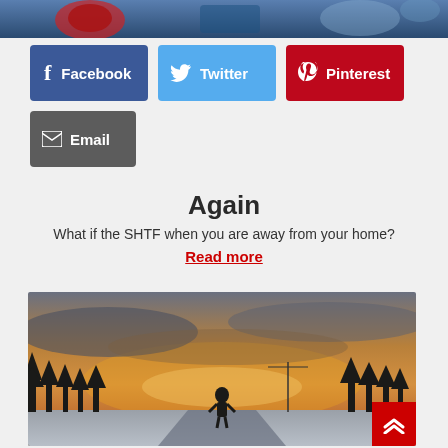[Figure (photo): Partial top view of an outdoor winter/action scene with blue tones]
[Figure (infographic): Social share buttons: Facebook (dark blue), Twitter (light blue), Pinterest (red), Email (gray)]
Again
What if the SHTF when you are away from your home?
Read more
[Figure (photo): A person standing on a snowy road at sunset/dusk with pine trees silhouetted against a dramatic orange and gray sky]